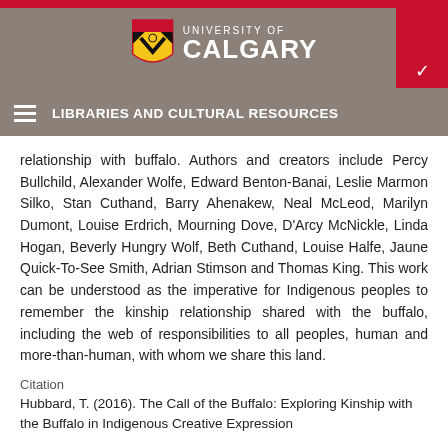University of Calgary — Libraries and Cultural Resources
relationship with buffalo. Authors and creators include Percy Bullchild, Alexander Wolfe, Edward Benton-Banai, Leslie Marmon Silko, Stan Cuthand, Barry Ahenakew, Neal McLeod, Marilyn Dumont, Louise Erdrich, Mourning Dove, D'Arcy McNickle, Linda Hogan, Beverly Hungry Wolf, Beth Cuthand, Louise Halfe, Jaune Quick-To-See Smith, Adrian Stimson and Thomas King. This work can be understood as the imperative for Indigenous peoples to remember the kinship relationship shared with the buffalo, including the web of responsibilities to all peoples, human and more-than-human, with whom we share this land.
Citation
Hubbard, T. (2016). The Call of the Buffalo: Exploring Kinship with the Buffalo in Indigenous Creative Expression